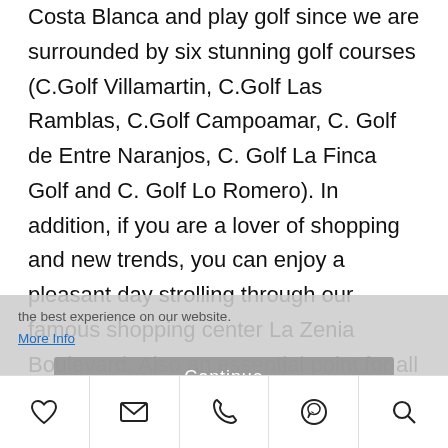Costa Blanca and play golf since we are surrounded by six stunning golf courses (C.Golf Villamartin, C.Golf Las Ramblas, C.Golf Campoamar, C. Golf de Entre Naranjos, C. Golf La Finca Golf and C. Golf Lo Romero). In addition, if you are a lover of shopping and new trends, you can enjoy a pleasant day strolling through our famous shopping center La Zenia Boulevard. Also an essential point for all residents and tourists of Orihuela Costa and Torrevieja, being we can boast one of the most prestigious health services in the Valencian Community, both the hospital de Torrevieja and the hospital Quiron(private management) are very close. It is also worth mentioning as a point of interest the
[Figure (screenshot): Cookie consent overlay with text 'the best experience on our website', a 'More Info' link, and a grey 'Continue' button]
Toolbar with icons: heart (favourite), envelope (email), phone, WhatsApp, search